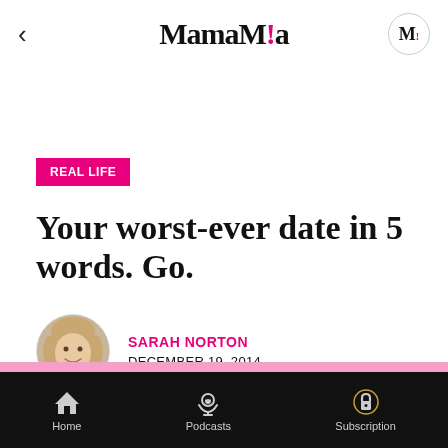MamaMia
REAL LIFE
Your worst-ever date in 5 words. Go.
SARAH NORTON
DECEMBER 19, 2014
Home  Podcasts  Subscription